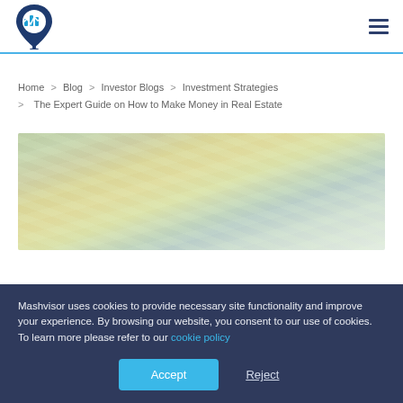Mashvisor logo and navigation menu
Home > Blog > Investor Blogs > Investment Strategies > The Expert Guide on How to Make Money in Real Estate
[Figure (photo): Blurred overhead photo of scattered US dollar bills]
Mashvisor uses cookies to provide necessary site functionality and improve your experience. By browsing our website, you consent to our use of cookies. To learn more please refer to our cookie policy
Accept  Reject